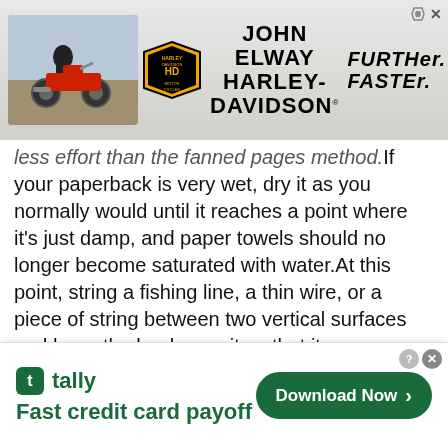[Figure (other): John Elway Harley-Davidson advertisement banner with motorcycle image, Harley-Davidson shield logo, 'JOHN ELWAY HARLEY-DAVIDSON' text, and 'FURTHER FASTER' slogan]
less effort than the fanned pages method.If your paperback is very wet, dry it as you normally would until it reaches a point where it's just damp, and paper towels should no longer become saturated with water.At this point, string a fishing line, a thin wire, or a piece of string between two vertical surfaces and hang the book over it so that it opens downward.If you're indoors, use a fan to circulate the air.The book should be dry in a few days.If you're hanging your paperback outside, don't let it stay out overnight.The book can be damaged by the morning Dew.Don't hang books that are wet.If the book is wet, the
[Figure (other): Tally app advertisement - 'Fast credit card payoff' with green Download Now button]